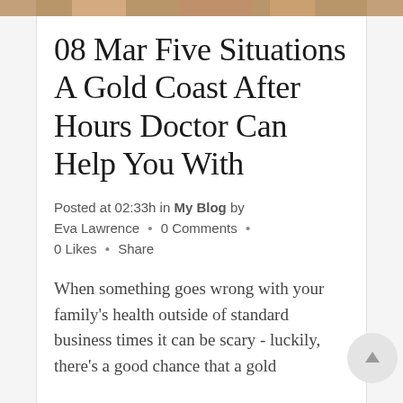[Figure (photo): Partial photo strip at top of page, cropped — appears to show people, warm tones]
08 Mar Five Situations A Gold Coast After Hours Doctor Can Help You With
Posted at 02:33h in My Blog by Eva Lawrence · 0 Comments · 0 Likes · Share
When something goes wrong with your family's health outside of standard business times it can be scary - luckily, there's a good chance that a gold